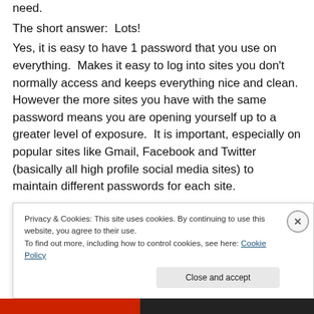need.
The short answer:  Lots!
Yes, it is easy to have 1 password that you use on everything.  Makes it easy to log into sites you don't normally access and keeps everything nice and clean.  However the more sites you have with the same password means you are opening yourself up to a greater level of exposure.  It is important, especially on popular sites like Gmail, Facebook and Twitter (basically all high profile social media sites) to maintain different passwords for each site.
Privacy & Cookies: This site uses cookies. By continuing to use this website, you agree to their use.
To find out more, including how to control cookies, see here: Cookie Policy
Close and accept